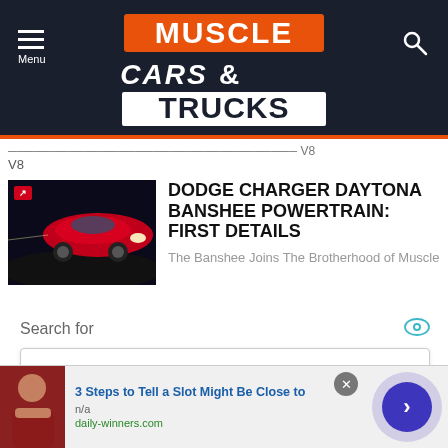MUSCLE CARS & TRUCKS
V8
DODGE CHARGER DAYTONA BANSHEE POWERTRAIN: FIRST DETAILS
The Banshee Joins The Brotherhood of Muscle
Search for
BEST BANK FOR A SAVINGS ACCOUNT →
3 Steps to Tell a Slot Might Be Close to
n/a
daily-winners.com